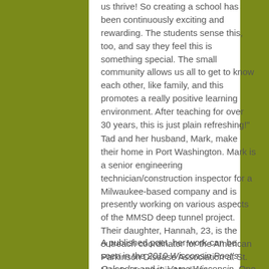us thrive! So creating a school has been continuously exciting and rewarding. The students sense this, too, and say they feel this is something special. The small community allows us all to get to know each other, like family, and this promotes a really positive learning environment. After teaching for over 30 years, this is just plain refreshing!"
Tad and her husband, Mark, make their home in Port Washington. Mark is a senior engineering technician/construction inspector for a Milwaukee-based company and is presently working on various aspects of the MMSD deep tunnel project. Their daughter, Hannah, 23, is the outreach coordinator for the American Parkinson Disease Association at St. Mary's Hospital in Madison.
A published poet, her work can be seen in the 2010 Wisconsin Poet's Calendar and in Verse Wisconsin. One of Tad's poems was animated